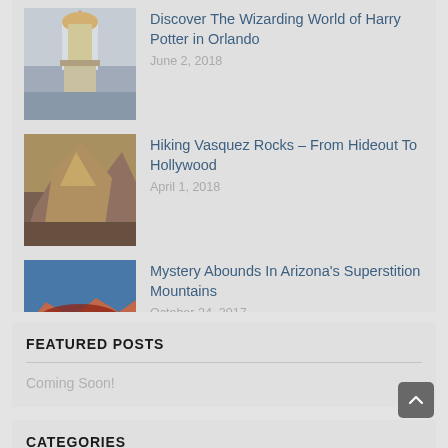[Figure (photo): Thumbnail image of a statue or sculpture (eagle/griffon on pedestal), likely from The Wizarding World of Harry Potter]
Discover The Wizarding World of Harry Potter in Orlando
June 2, 2018
[Figure (photo): Thumbnail image of Vasquez Rocks, showing angled rocky formations]
Hiking Vasquez Rocks – From Hideout To Hollywood
April 1, 2018
[Figure (photo): Thumbnail image of Arizona's Superstition Mountains with red rock formations under blue sky]
Mystery Abounds In Arizona's Superstition Mountains
October 24, 2017
FEATURED POSTS
Coming Soon!
CATEGORIES